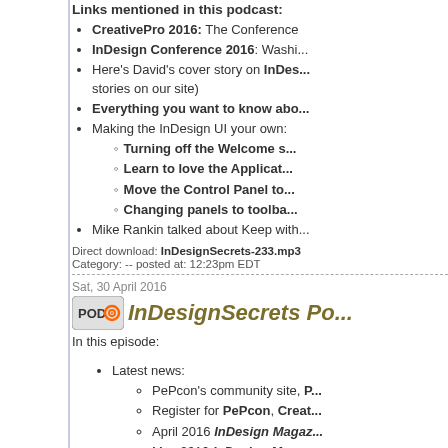Links mentioned in this podcast:
CreativePro 2016: The Conference
InDesign Conference 2016: Washi...
Here’s David’s cover story on InDes... stories on our site)
Everything you want to know abo...
Making the InDesign UI your own:
Turning off the Welcome s...
Learn to love the Applicat...
Move the Control Panel to...
Changing panels to toolba...
Mike Rankin talked about Keep with...
Direct download: InDesignSecrets-233.mp3
Category: -- posted at: 12:23pm EDT
Sat, 30 April 2016
InDesignSecrets Po...
In this episode:
Latest news:
PePcon’s community site, P...
Register for PePcon, Creat...
April 2016 InDesign Magaz...
May 2016 InDesign Magaz...
Inside Mike Riordan’s head (intervie...
All About Alternative Glyphs
Obscure InDesign Feature of the W...
News and special offers from our sponsors:
>> Certitec, an Adobe Authorized Trainin...